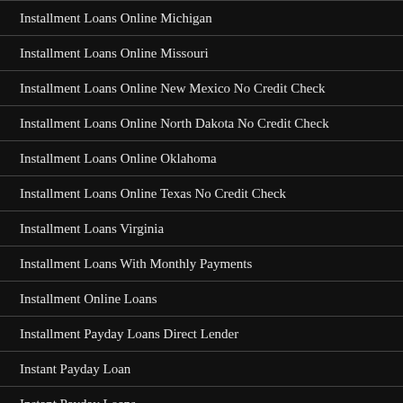Installment Loans Online Michigan
Installment Loans Online Missouri
Installment Loans Online New Mexico No Credit Check
Installment Loans Online North Dakota No Credit Check
Installment Loans Online Oklahoma
Installment Loans Online Texas No Credit Check
Installment Loans Virginia
Installment Loans With Monthly Payments
Installment Online Loans
Installment Payday Loans Direct Lender
Instant Payday Loan
Instant Payday Loans